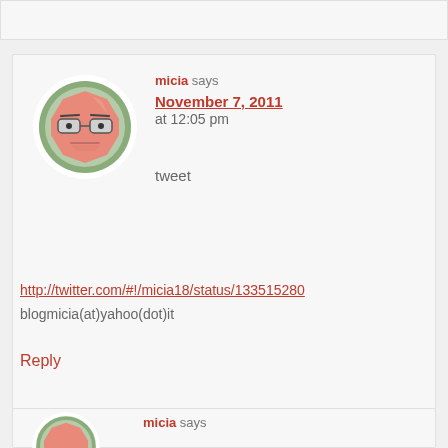[Figure (illustration): Avatar of micia: cartoon face with glasses, octagon shape, salmon/pink color on green circular background]
micia says
November 7, 2011 at 12:05 pm
tweet
http://twitter.com/#!/micia18/status/133515280
blogmicia(at)yahoo(dot)it
Reply
[Figure (illustration): Partial avatar of micia (same as above) clipped at bottom of page]
micia says